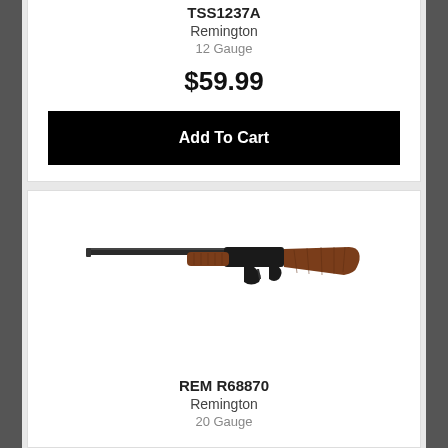TSS1237A
Remington
12 Gauge
$59.99
Add To Cart
[Figure (photo): Pump-action shotgun with dark barrel and wooden stock, viewed from the side]
REM R68870
Remington
20 Gauge